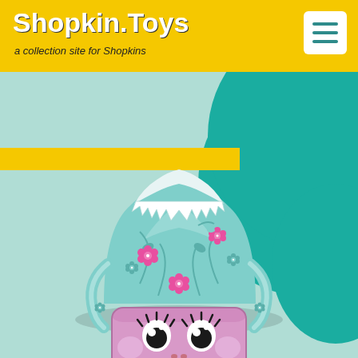Shopkin.Toys — a collection site for Shopkins
[Figure (illustration): Shopkins character illustration: a kawaii-style cake/mountain Shopkin with mint/teal coloring, pink floral decorations, white frosting top, and a pink rectangular base with cute anime eyes and smile. Set against a light mint/teal background with a large teal circle on the right and a yellow horizontal stripe.]